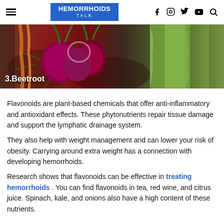HEMORRHOIDS TALK [with social icons: f, Instagram, Twitter, YouTube, Search]
[Figure (photo): Close-up photo of beetroot and other root vegetables with green tops, showing red/purple beets, carrots, and light green vegetables. Caption overlay reads '3.Beetroot']
Flavonoids are plant-based chemicals that offer anti-inflammatory and antioxidant effects. These phytonutrients repair tissue damage and support the lymphatic drainage system.
They also help with weight management and can lower your risk of obesity. Carrying around extra weight has a connection with developing hemorrhoids.
Research shows that flavonoids can be effective in treating hemorrhoids . You can find flavonoids in tea, red wine, and citrus juice. Spinach, kale, and onions also have a high content of these nutrients.